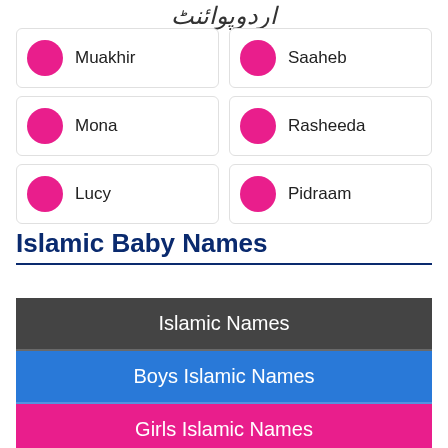[Figure (logo): Urdu Point logo text in Arabic/Urdu script]
Muakhir
Saaheb
Mona
Rasheeda
Lucy
Pidraam
Islamic Baby Names
Islamic Names
Boys Islamic Names
Girls Islamic Names